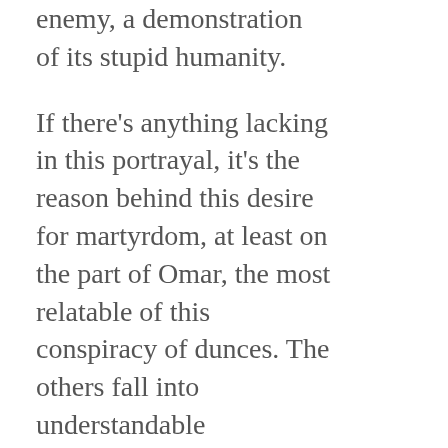enemy, a demonstration of its stupid humanity.
If there's anything lacking in this portrayal, it's the reason behind this desire for martyrdom, at least on the part of Omar, the most relatable of this conspiracy of dunces. The others fall into understandable (stereotypical?) categories, from the belligerently misguided activist, to the rebellious young person, to the easily-led moron, but Omar